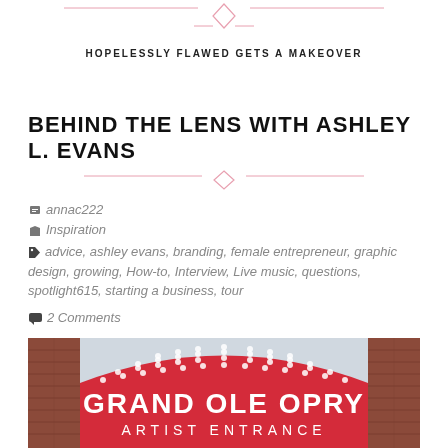HOPELESSLY FLAWED GETS A MAKEOVER
BEHIND THE LENS WITH ASHLEY L. EVANS
annac222
Inspiration
advice, ashley evans, branding, female entrepreneur, graphic design, growing, How-to, Interview, Live music, questions, spotlight615, starting a business, tour
2 Comments
[Figure (photo): Grand Ole Opry Artist Entrance sign — a red arched sign with white dot lights and white text reading GRAND OLE OPRY ARTIST ENTRANCE, flanked by brick walls]